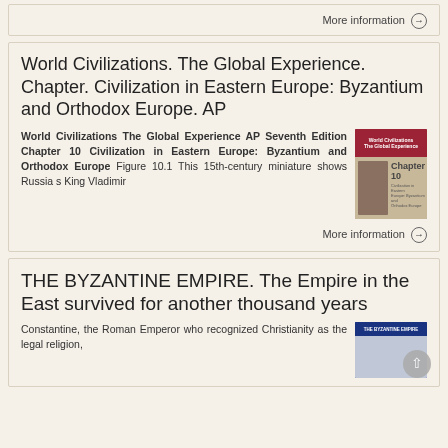More information →
World Civilizations. The Global Experience. Chapter. Civilization in Eastern Europe: Byzantium and Orthodox Europe. AP
World Civilizations The Global Experience AP Seventh Edition Chapter 10 Civilization in Eastern Europe: Byzantium and Orthodox Europe Figure 10.1 This 15th-century miniature shows Russia s King Vladimir
[Figure (illustration): Book cover thumbnail for World Civilizations The Global Experience AP, showing Chapter 10 with a medieval miniature illustration]
More information →
THE BYZANTINE EMPIRE. The Empire in the East survived for another thousand years
Constantine, the Roman Emperor who recognized Christianity as the legal religion,
[Figure (illustration): Book cover thumbnail for The Byzantine Empire, blue cover with text]